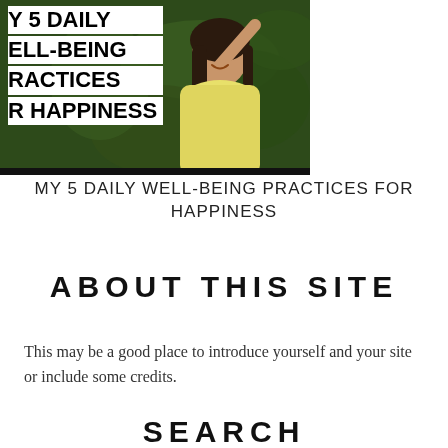[Figure (photo): A smiling woman with long dark hair wearing a yellow sundress, standing outdoors in front of green foliage. Overlaid on the left side of the image are large bold white-background text blocks reading: 'MY 5 DAILY WELL-BEING PRACTICES FOR HAPPINESS' (text is partially cropped on the left side showing 'Y 5 DAILY', 'ELL-BEING', 'RACTICES', 'R HAPPINESS').]
MY 5 DAILY WELL-BEING PRACTICES FOR HAPPINESS
ABOUT THIS SITE
This may be a good place to introduce yourself and your site or include some credits.
SEARCH